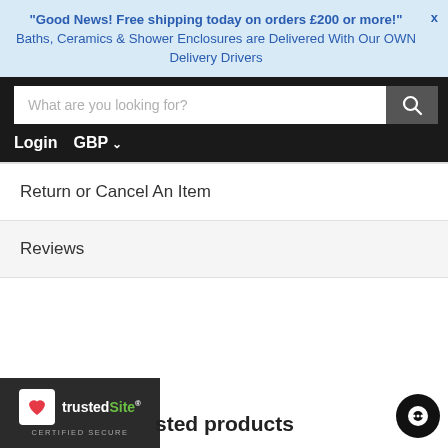"Good News! Free shipping today on orders £200 or more!" X
Baths, Ceramics & Shower Enclosures are Delivered With Our OWN Delivery Drivers
[Figure (screenshot): Search bar with placeholder text 'What are you looking for?' and a dark search button with magnifying glass icon]
Login   GBP ˅
Return or Cancel An Item
Reviews
[Figure (logo): TrustedSite Certified Secure badge with heart icon, next to partial text 'sted products' and chat button]